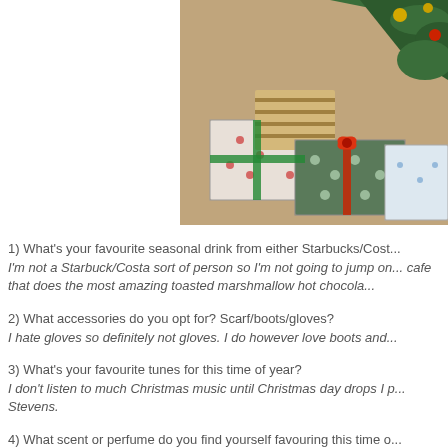[Figure (photo): Christmas presents wrapped in decorative paper arranged under a Christmas tree on a patterned carpet floor.]
1) What's your favourite seasonal drink from either Starbucks/Cost...
I'm not a Starbuck/Costa sort of person so I'm not going to jump on... cafe that does the most amazing toasted marshmallow hot chocola...
2) What accessories do you opt for? Scarf/boots/gloves?
I hate gloves so definitely not gloves. I do however love boots and...
3) What's your favourite tunes for this time of year?
I don't listen to much Christmas music until Christmas day drops I p... Stevens.
4) What scent or perfume do you find yourself favouring this time o...